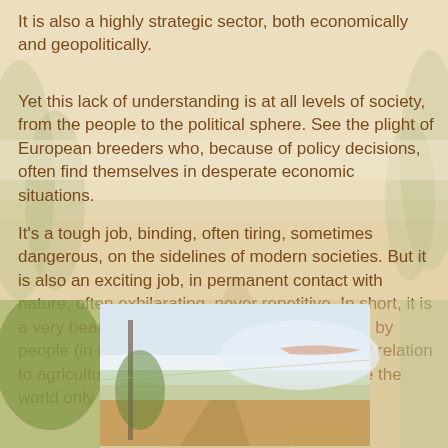It is also a highly strategic sector, both economically and geopolitically.
Yet this lack of understanding is at all levels of society, from the people to the political sphere. See the plight of European breeders who, because of policy decisions, often find themselves in desperate economic situations.
It's a tough job, binding, often tiring, sometimes dangerous, on the sidelines of modern societies. But it is also an exciting job, in permanent contact with nature, often exhilarating, never repetitive. In short, it is a very beautiful job, unfortunately too maligned by people (in most cases city-dwellers without any relation to agriculture) who understand nothing and see the world only through distorting glasses.
[Figure (photo): A rural dirt road or path through agricultural land with fields and open sky, shown as an inset photograph in the lower portion of the page.]